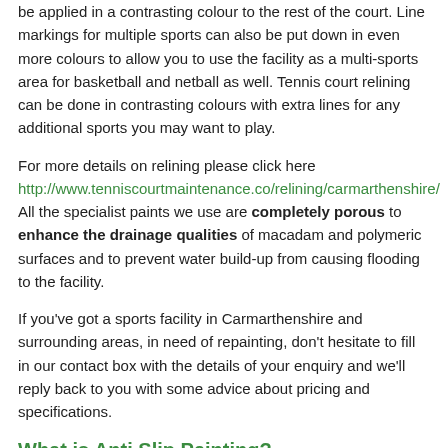be applied in a contrasting colour to the rest of the court. Line markings for multiple sports can also be put down in even more colours to allow you to use the facility as a multi-sports area for basketball and netball as well. Tennis court relining can be done in contrasting colours with extra lines for any additional sports you may want to play.
For more details on relining please click here http://www.tenniscourtmaintenance.co/relining/carmarthenshire/ All the specialist paints we use are completely porous to enhance the drainage qualities of macadam and polymeric surfaces and to prevent water build-up from causing flooding to the facility.
If you've got a sports facility in Carmarthenshire and surrounding areas, in need of repainting, don't hesitate to fill in our contact box with the details of your enquiry and we'll reply back to you with some advice about pricing and specifications.
What is Anti Slip Painting?
Anti-slip painting is the process of painting a surface using a specialist paint with anti-slip properties. The paints we use during